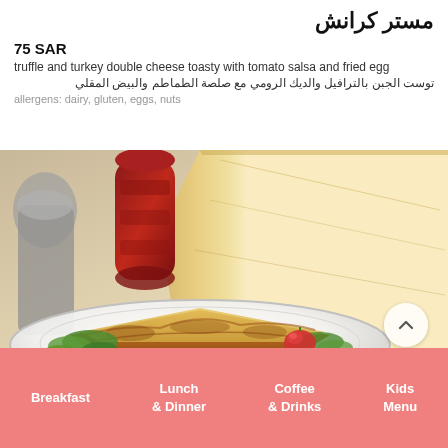مستر كرانش
75 SAR
truffle and turkey double cheese toasty with tomato salsa and fried egg
توست الجبن بالترافيل والديك الرومي مع صلصة الطماطم والبيض المقلي
allergens: dairy, gluten, eggs, nuts
[Figure (photo): Food photo showing a toasted cheese sandwich with salad on a white plate, with a large wedge of cheese and a red pepper mill in the background]
Breakfast | Lunch & Dinner | Coffee & Drinks | Kids Menu